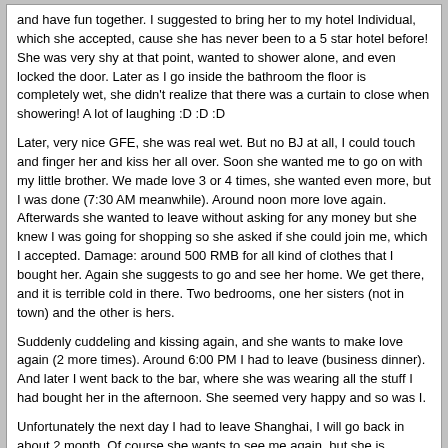and have fun together. I suggested to bring her to my hotel Individual, which she accepted, cause she has never been to a 5 star hotel before! She was very shy at that point, wanted to shower alone, and even locked the door. Later as I go inside the bathroom the floor is completely wet, she didn't realize that there was a curtain to close when showering! A lot of laughing :D :D :D

Later, very nice GFE, she was real wet. But no BJ at all, I could touch and finger her and kiss her all over. Soon she wanted me to go on with my little brother. We made love 3 or 4 times, she wanted even more, but I was done (7:30 AM meanwhile). Around noon more love again. Afterwards she wanted to leave without asking for any money but she knew I was going for shopping so she asked if she could join me, which I accepted. Damage: around 500 RMB for all kind of clothes that I bought her. Again she suggests to go and see her home. We get there, and it is terrible cold in there. Two bedrooms, one her sisters (not in town) and the other is hers.

Suddenly cuddeling and kissing again, and she wants to make love again (2 more times). Around 6:00 PM I had to leave (business dinner). And later I went back to the bar, where she was wearing all the stuff I had bought her in the afternoon. She seemed very happy and so was I.

Unfortunately the next day I had to leave Shanghai, I will go back in about 2 month. Of course she wants to see me again, but she is expecting I bring her a lot of jewelry and such, so this is the other side of the medal.

I think it is fair to either pay the gals what they deserve or buy them stuff if they prefer but it shouldn't end up they start to demand unreasonable things. She will cool down in 2 month.

This was my very first post in this great forum, sorry it is a bit long.

Happy hunting!

Gibson
Black Jack